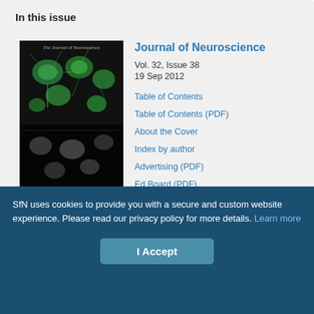In this issue
[Figure (photo): Journal cover image of The Journal of Neuroscience showing fluorescent microscopy of neurons in green and gray]
Journal of Neuroscience
Vol. 32, Issue 38
19 Sep 2012
Table of Contents
Table of Contents (PDF)
About the Cover
Index by author
Advertising (PDF)
Ed Board (PDF)
Email
Share
SfN uses cookies to provide you with a secure and custom website experience. Please read our privacy policy for more details. Learn more
I Accept